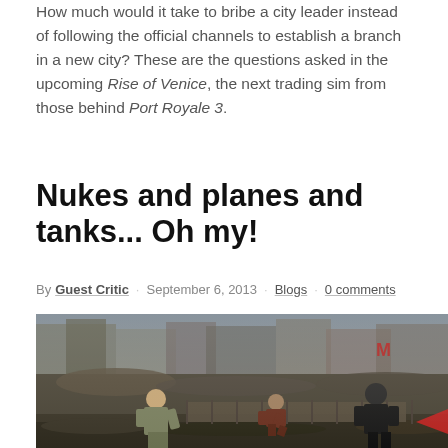How much would it take to bribe a city leader instead of following the official channels to establish a branch in a new city? These are the questions asked in the upcoming Rise of Venice, the next trading sim from those behind Port Royale 3.
Nukes and planes and tanks... Oh my!
By Guest Critic · September 6, 2013 · Blogs · 0 comments
[Figure (screenshot): Screenshot from a video game showing three armored characters standing in a destroyed war-torn city environment with rubble and smoke in the background.]